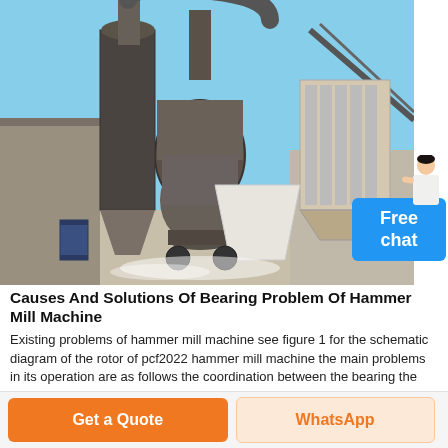[Figure (photo): Outdoor industrial hammer mill machine installation showing large grinding equipment with cyclone dust collector, conveyor belt system, metal pipes and ductwork. Industrial facility with open-air setup, dusty sandy ground, blue sky background.]
Causes And Solutions Of Bearing Problem Of Hammer Mill Machine
Existing problems of hammer mill machine see figure 1 for the schematic diagram of the rotor of pcf2022 hammer mill machine the main problems in its operation are as follows the coordination between the bearing the withdrawal sleeve and the rotor shaft